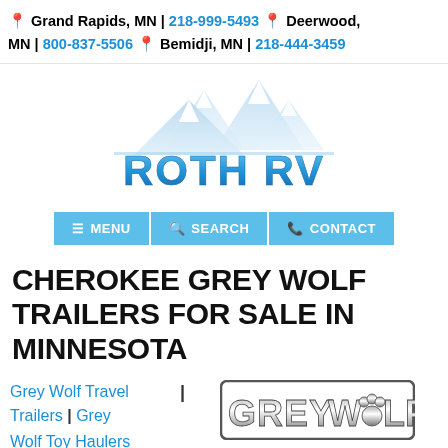📍 Grand Rapids, MN | 218-999-5493 📍 Deerwood, MN | 800-837-5506 📍 Bemidji, MN | 218-444-3459
[Figure (logo): Roth RV logo with mountain graphic and blue text reading ROTH RV]
[Figure (other): Navigation bar with MENU, SEARCH, and CONTACT buttons on light blue background]
CHEROKEE GREY WOLF TRAILERS FOR SALE IN MINNESOTA
Grey Wolf Travel Trailers
Grey Wolf Toy Haulers
[Figure (logo): Grey Wolf brand logo in metallic/chrome style lettering with wolf paw print replacing the O in WOLF]